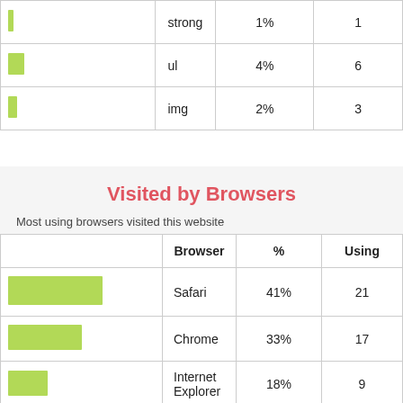|  | Tag | % | Count |
| --- | --- | --- | --- |
| [bar] | strong | 1% | 1 |
| [bar] | ul | 4% | 6 |
| [bar] | img | 2% | 3 |
Visited by Browsers
Most using browsers visited this website
|  | Browser | % | Using |
| --- | --- | --- | --- |
| [bar] | Safari | 41% | 21 |
| [bar] | Chrome | 33% | 17 |
| [bar] | Internet Explorer | 18% | 9 |
| [bar] | Opera Mini | 6% | 3 |